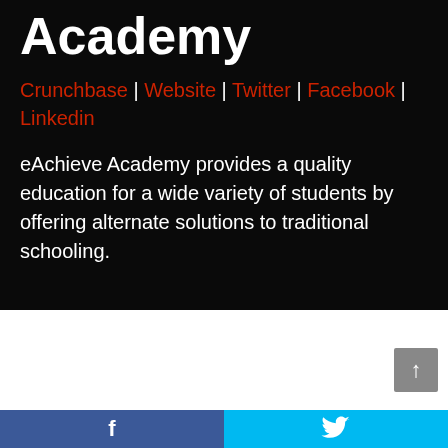Academy
Crunchbase | Website | Twitter | Facebook | Linkedin
eAchieve Academy provides a quality education for a wide variety of students by offering alternate solutions to traditional schooling.
[Figure (other): Scroll-to-top button with upward arrow on grey background]
[Figure (other): Footer bar with Facebook icon on blue-grey background (left) and Twitter bird icon on cyan background (right)]